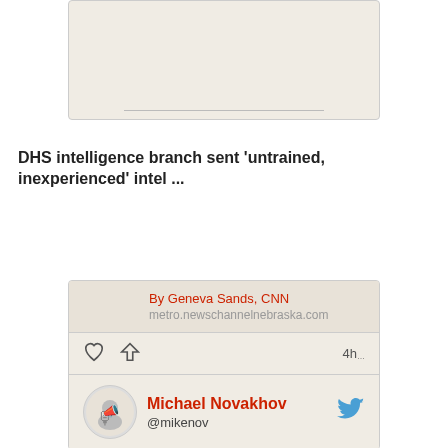[Figure (screenshot): Top portion of a social media card with beige/cream background and a horizontal divider line]
DHS intelligence branch sent 'untrained, inexperienced' intel ...
[Figure (screenshot): Social media post card showing article attribution 'By Geneva Sands, CNN' from metro.newschannelnebraska.com, with like and share icons and 4h timestamp, followed by user profile row for Michael Novakhov @mikenov with Twitter bird icon]